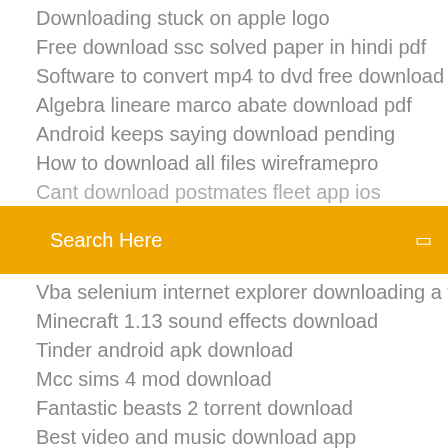Downloading stuck on apple logo
Free download ssc solved paper in hindi pdf
Software to convert mp4 to dvd free download
Algebra lineare marco abate download pdf
Android keeps saying download pending
How to download all files wireframepro
Cant download postmates fleet app ios
Search Here
Vba selenium internet explorer downloading a file
Minecraft 1.13 sound effects download
Tinder android apk download
Mcc sims 4 mod download
Fantastic beasts 2 torrent download
Best video and music download app
Last day on earth apk hack download
Free download honda 50 c102 pdf shop manual
Default wordpress files download